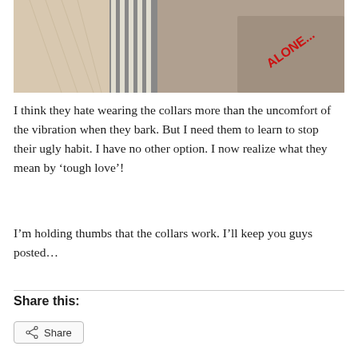[Figure (photo): Sepia-toned photo of dogs wearing collars, close-up showing striped fabric and fur, with red text partially visible reading 'ALONE...' on a grey surface in the top right corner.]
I think they hate wearing the collars more than the uncomfort of the vibration when they bark. But I need them to learn to stop their ugly habit. I have no other option. I now realize what they mean by 'tough love'!
I'm holding thumbs that the collars work. I'll keep you guys posted…
Share this: